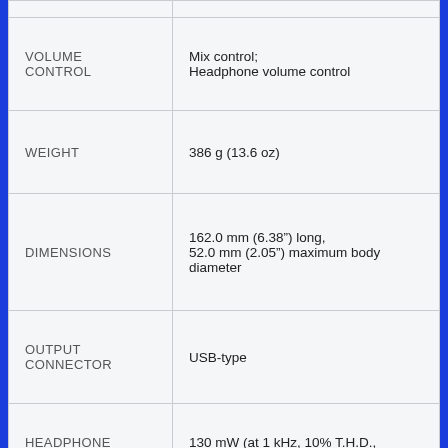| Specification | Value |
| --- | --- |
| VOLUME CONTROL | Mix control; Headphone volume control |
| WEIGHT | 386 g (13.6 oz) |
| DIMENSIONS | 162.0 mm (6.38") long, 52.0 mm (2.05") maximum body diameter |
| OUTPUT CONNECTOR | USB-type |
| HEADPHONE OUTPUT POWER | 130 mW (at 1 kHz, 10% T.H.D., 32 ohm load) |
| HEADPHONE JACK | 3.5 mm (1/8") TRS (stereo) |